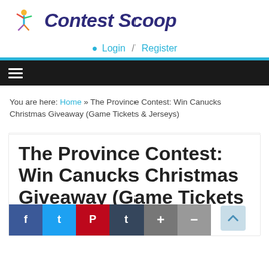[Figure (logo): Contest Scoop logo with colorful figure and dark blue italic text]
Login / Register
Navigation bar with hamburger menu
You are here: Home » The Province Contest: Win Canucks Christmas Giveaway (Game Tickets & Jerseys)
The Province Contest: Win Canucks Christmas Giveaway (Game Tickets &